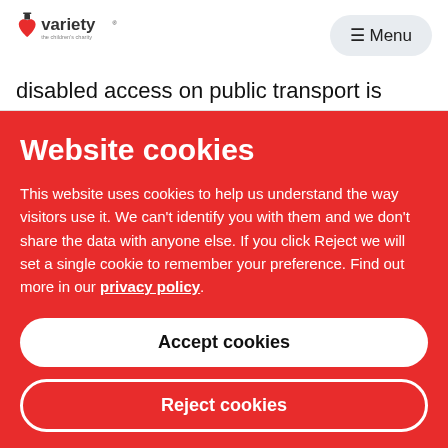[Figure (logo): Variety the children's charity logo with top hat and heart icon]
≡ Menu
disabled access on public transport is
Website cookies
This website uses cookies to help us understand the way visitors use it. We can't identify you with them and we don't share the data with anyone else. If you click Reject we will set a single cookie to remember your preference. Find out more in our privacy policy.
Accept cookies
Reject cookies